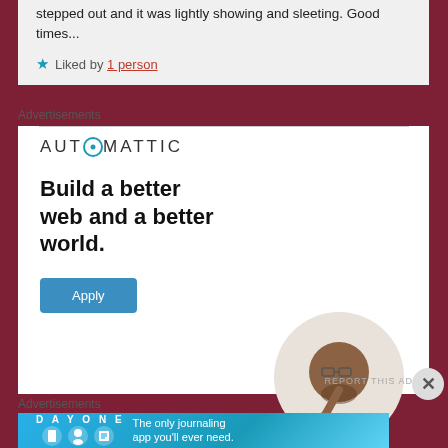stepped out and it was lightly showing and sleeting. Good times...
★ Liked by 1 person
Advertisements
[Figure (infographic): Automattic advertisement: 'Build a better web and a better world.' with Apply button and person thinking in circular photo]
REPORT THIS AD
Advertisements
[Figure (infographic): Day One journaling app advertisement: 'The only journaling app you'll ever need.']